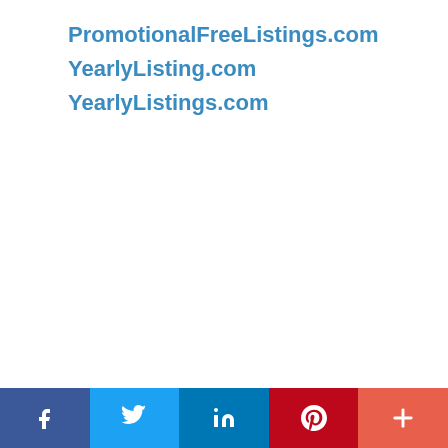PromotionalFreeListings.com
YearlyListing.com
YearlyListings.com
Social share bar: Facebook, Twitter, LinkedIn, Pinterest, More